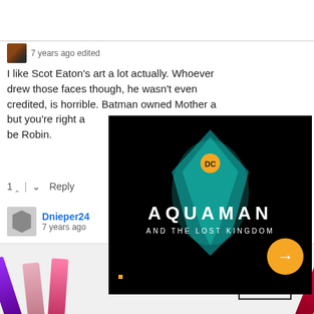7 years ago edited
I like Scot Eaton's art a lot actually. Whoever drew those faces though, he wasn't even credited, is horrible. Batman owned Mother a[nd...] but you're right a[bout...] be Robin.
1 ^ | v Reply
Dnieper24 7 years ago
I have mixed fee[lings...] had less role bec[ause...] much time on re[venge...] don't need to ma[ke...] legacy. That and I approve of Mother's heart of ice persona. It
[Figure (screenshot): Aquaman and the Lost Kingdom movie advertisement popup overlay with progress bars at top, three-dot menu and X close button, teal/black movie title art, and orange circular arrow button]
[Figure (photo): MAC Cosmetics advertisement showing multiple lipsticks in purple, pink, and red colors with MAC logo and SHOP NOW button]